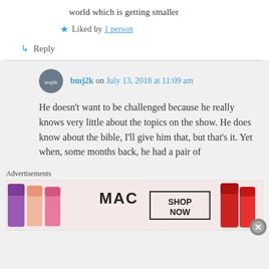world which is getting smaller
★ Liked by 1 person
↳ Reply
bmj2k on July 13, 2018 at 11:09 am
He doesn't want to be challenged because he really knows very little about the topics on the show. He does know about the bible, I'll give him that, but that's it. Yet when, some months back, he had a pair of
Advertisements
[Figure (photo): MAC cosmetics advertisement showing lipsticks in purple, pink, and red colors with MAC logo and SHOP NOW call to action]